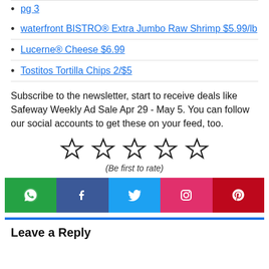pg 3
waterfront BISTRO® Extra Jumbo Raw Shrimp $5.99/lb
Lucerne® Cheese $6.99
Tostitos Tortilla Chips 2/$5
Subscribe to the newsletter, start to receive deals like Safeway Weekly Ad Sale Apr 29 - May 5. You can follow our social accounts to get these on your feed, too.
[Figure (other): Five empty star rating icons in a row with caption (Be first to rate)]
(Be first to rate)
[Figure (infographic): Social sharing bar with WhatsApp, Facebook, Twitter, Instagram, Pinterest buttons]
Leave a Reply